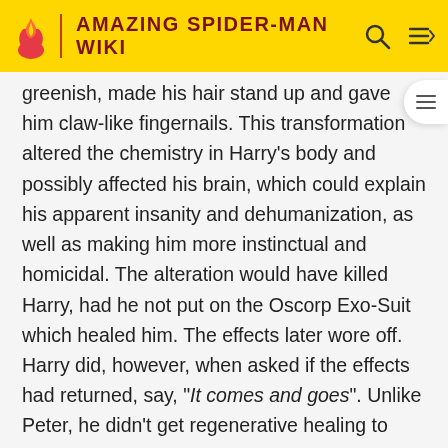AMAZING SPIDER-MAN WIKI
greenish, made his hair stand up and gave him claw-like fingernails. This transformation altered the chemistry in Harry's body and possibly affected his brain, which could explain his apparent insanity and dehumanization, as well as making him more instinctual and homicidal. The alteration would have killed Harry, had he not put on the Oscorp Exo-Suit which healed him. The effects later wore off. Harry did, however, when asked if the effects had returned, say, "It comes and goes". Unlike Peter, he didn't get regenerative healing to cure himself of his disease.
Superhuman Strength: His strength was enhanced by the exoskeleton of Oscorp shown to be strong enough to be near or the same to Spider-Man. He was able to pin Spider-Man to the